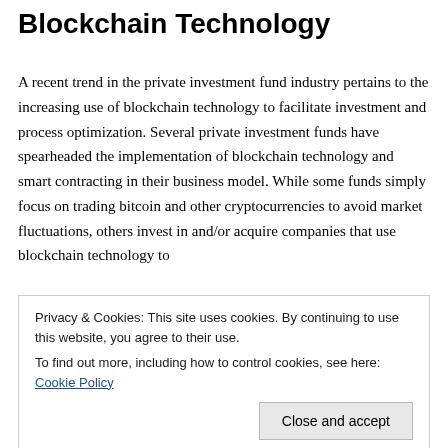Blockchain Technology
A recent trend in the private investment fund industry pertains to the increasing use of blockchain technology to facilitate investment and process optimization. Several private investment funds have spearheaded the implementation of blockchain technology and smart contracting in their business model. While some funds simply focus on trading bitcoin and other cryptocurrencies to avoid market fluctuations, others invest in and/or acquire companies that use blockchain technology to
Privacy & Cookies: This site uses cookies. By continuing to use this website, you agree to their use.
To find out more, including how to control cookies, see here: Cookie Policy
[Close and accept]
equity deal making, or using cryptocurrencies as